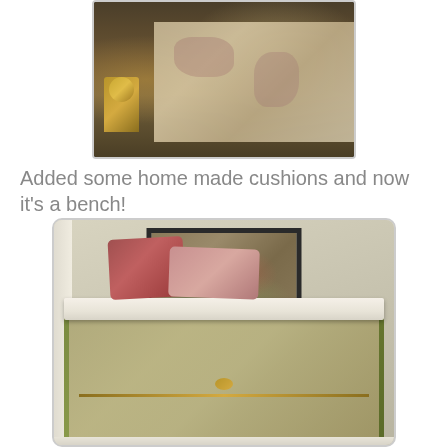[Figure (photo): Close-up photo of a decorative trunk or chest with a brass instrument/compass visible and vintage map-patterned fabric on the surface, dark background]
Added some home made cushions and now it's a bench!
[Figure (photo): Photo of a decorative green and floral-patterned trunk converted into a bench, with a white cushion on top, two pink/red pillows leaning against the wall, and an ornate framed artwork hung above it in a corner nook]